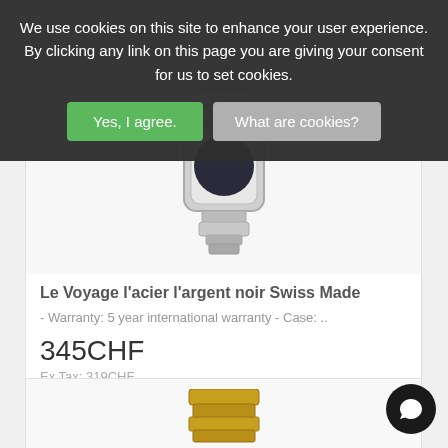We use cookies on this site to enhance your user experience. By clicking any link on this page you are giving your consent for us to set cookies.
Yes, I agree.
What are cookies?
[Figure (photo): Partial view of a silver/grey watch with metal bracelet, partially obscured by the cookie banner]
Le Voyage l'acier l'argent noir Swiss Made
- Warranty: 5 year international warranty - Case: ..
345CHF
Ex Tax: 319CHF
[Figure (photo): Gold watch with dark navy blue dial and gold-tone metal bracelet, Louis XVI brand, visible date window]